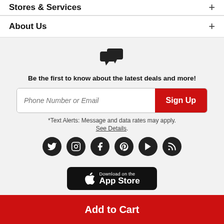Stores & Services
About Us
[Figure (illustration): Chat/speech bubble icons]
Be the first to know about the latest deals and more!
[Figure (other): Phone Number or Email input with Sign Up button]
*Text Alerts: Message and data rates may apply.
See Details.
[Figure (other): Social media icons: Twitter, Instagram, Facebook, Pinterest, YouTube, Blog]
[Figure (other): Download on the App Store badge]
Add to Cart